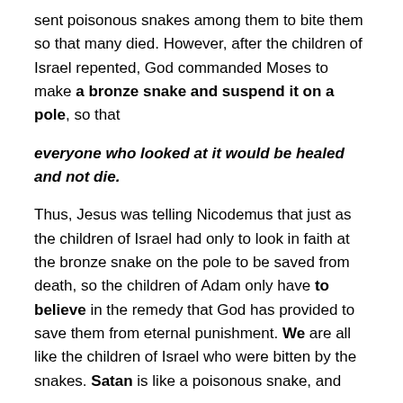sent poisonous snakes among them to bite them so that many died. However, after the children of Israel repented, God commanded Moses to make a bronze snake and suspend it on a pole, so that
everyone who looked at it would be healed and not die.
Thus, Jesus was telling Nicodemus that just as the children of Israel had only to look in faith at the bronze snake on the pole to be saved from death, so the children of Adam only have to believe in the remedy that God has provided to save them from eternal punishment. We are all like the children of Israel who were bitten by the snakes. Satan is like a poisonous snake, and
sin is like the poison